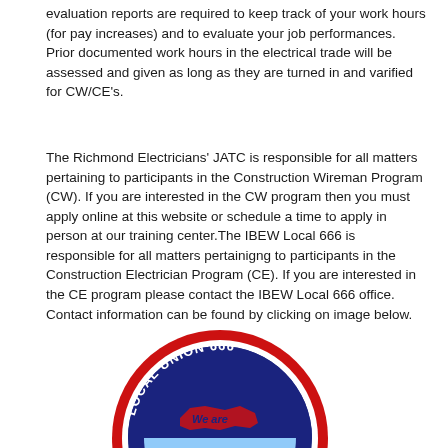evaluation reports are required to keep track of your work hours (for pay increases) and to evaluate your job performances.  Prior documented work hours in the electrical trade will be assessed and given as long as they are turned in and varified for CW/CE's.
The Richmond Electricians' JATC is responsible for all matters pertaining to participants in the Construction Wireman Program (CW).  If you are interested in the CW program then you must apply online at this website or schedule a time to apply in person at our training center.The IBEW Local 666 is responsible for all matters pertainigng to participants in the Construction Electrician Program (CE).  If you are interested in the CE program please contact the IBEW Local 666 office.  Contact information can be found by clicking on image below.
[Figure (logo): IBEW Local Union 666 circular logo with blue background, red border, and text 'LOCAL UNION 666' and 'We are' with a map shape]